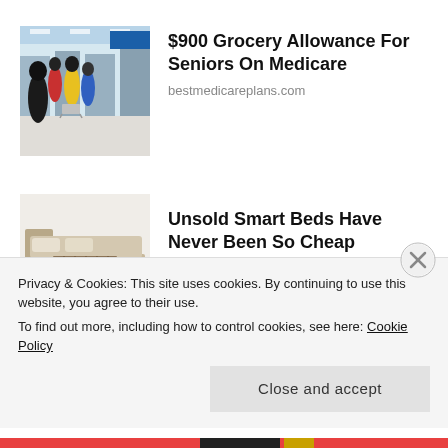[Figure (photo): People shopping in a grocery store aisle with carts]
$900 Grocery Allowance For Seniors On Medicare
bestmedicareplans.com
Unsold Smart Beds Have Never Been So Cheap
[Figure (photo): A modern adjustable smart bed with storage drawers]
Smart Bed | Search Ads
Privacy & Cookies: This site uses cookies. By continuing to use this website, you agree to their use.
To find out more, including how to control cookies, see here: Cookie Policy
Close and accept